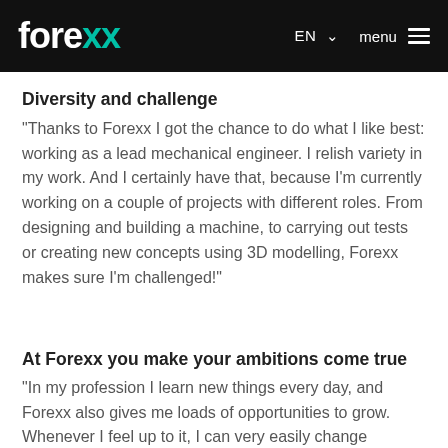forexx  EN  menu
Diversity and challenge
"Thanks to Forexx I got the chance to do what I like best: working as a lead mechanical engineer. I relish variety in my work. And I certainly have that, because I'm currently working on a couple of projects with different roles. From designing and building a machine, to carrying out tests or creating new concepts using 3D modelling, Forexx makes sure I'm challenged!"
At Forexx you make your ambitions come true
"In my profession I learn new things every day, and Forexx also gives me loads of opportunities to grow. Whenever I feel up to it, I can very easily change projects or positions. Do I want to develop new talents? Then I can pursue..."